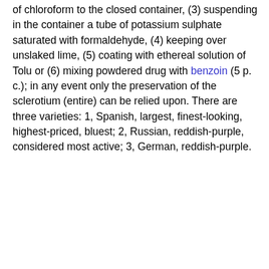of chloroform to the closed container, (3) suspending in the container a tube of potassium sulphate saturated with formaldehyde, (4) keeping over unslaked lime, (5) coating with ethereal solution of Tolu or (6) mixing powdered drug with benzoin (5 p. c.); in any event only the preservation of the sclerotium (entire) can be relied upon. There are three varieties: 1, Spanish, largest, finest-looking, highest-priced, bluest; 2, Russian, reddish-purple, considered most active; 3, German, reddish-purple.